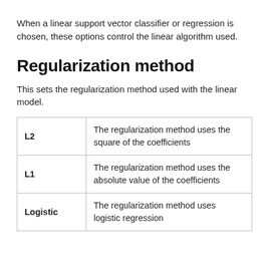When a linear support vector classifier or regression is chosen, these options control the linear algorithm used.
Regularization method
This sets the regularization method used with the linear model.
| L2 | The regularization method uses the square of the coefficients |
| L1 | The regularization method uses the absolute value of the coefficients |
| Logistic | The regularization method uses logistic regression |